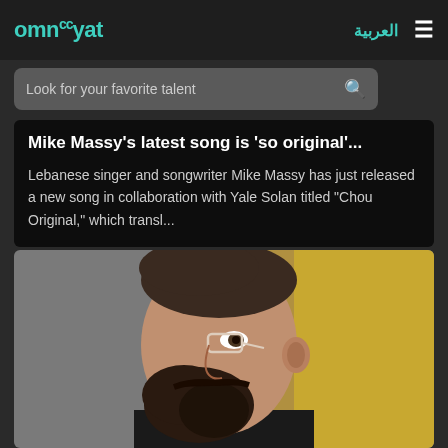omnceyat
Look for your favorite talent
Mike Massy's latest song is 'so original'...
Lebanese singer and songwriter Mike Massy has just released a new song in collaboration with Yale Solan titled "Chou Original," which transl...
[Figure (photo): Side profile of a bearded man with short buzzed hair wearing thin-framed glasses and a black shirt, photographed against a blurred yellow background]